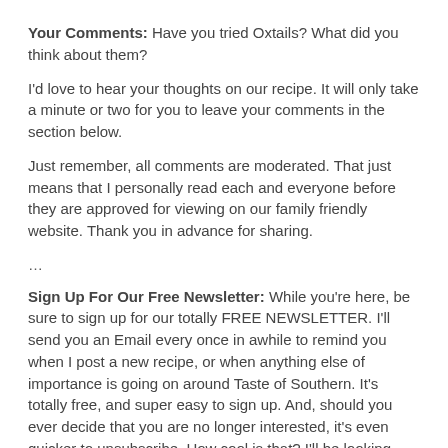Your Comments:  Have you tried Oxtails? What did you think about them?
I'd love to hear your thoughts on our recipe. It will only take a minute or two for you to leave your comments in the section below.
Just remember, all comments are moderated.  That just means that I personally read each and everyone before they are approved for viewing on our family friendly website. Thank you in advance for sharing.
...
Sign Up For Our Free Newsletter:  While you're here, be sure to sign up for our totally FREE NEWSLETTER.  I'll send you an Email every once in awhile to remind you when I post a new recipe, or when anything else of importance is going on around Taste of Southern.  It's totally free, and super easy to sign up.  And, should you ever decide that you are no longer interested, it's even quicker to unsubscribe.  How cool is that?  I'll be looking forward to seeing you add your name to our list.  The signup box is below and you'll also find one in the top right hand corner of each page. I hope you'll do it today.
Be Blessed!!!